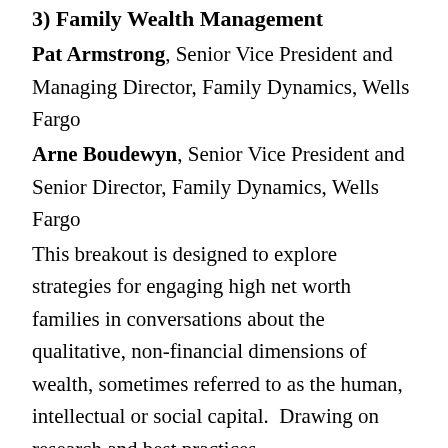3) Family Wealth Management
Pat Armstrong, Senior Vice President and Managing Director, Family Dynamics, Wells Fargo
Arne Boudewyn, Senior Vice President and Senior Director, Family Dynamics, Wells Fargo
This breakout is designed to explore strategies for engaging high net worth families in conversations about the qualitative, non-financial dimensions of wealth, sometimes referred to as the human, intellectual or social capital.  Drawing on research and best practices